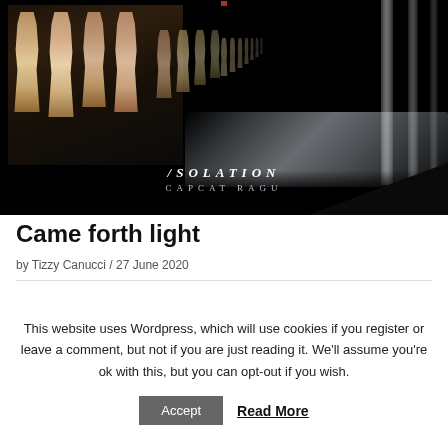[Figure (photo): Dark theatrical scene showing multiple female figures/mannequins in a row against a black background, with text overlay reading 'ISOLATION / CAPCAT RAGU']
Came forth light
by Tizzy Canucci / 27 June 2020
This website uses Wordpress, which will use cookies if you register or leave a comment, but not if you are just reading it. We'll assume you're ok with this, but you can opt-out if you wish.
Accept  Read More